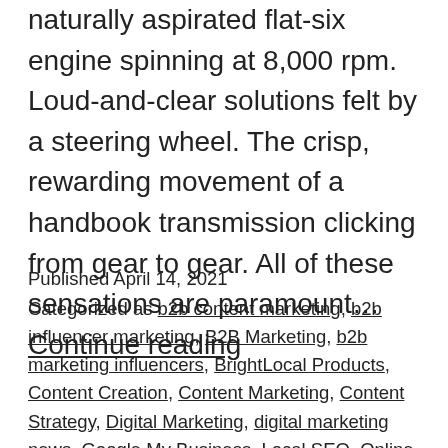naturally aspirated flat-six engine spinning at 8,000 rpm. Loud-and-clear solutions felt by a steering wheel. The crisp, rewarding movement of a handbook transmission clicking from gear to gear. All of these sensations are paramount… Continue reading
Published April 14, 2021
Categorized as b2b content marketing, b2b influencer marketing, B2B Marketing, b2b marketing influencers, BrightLocal Products, Content Creation, Content Marketing, Content Strategy, Digital Marketing, digital marketing news, Google My Business, Local SEO, Online Marketing News, SEO & SEM, Social Media, Social Media Marketing, Web Design, women who rock in marketing